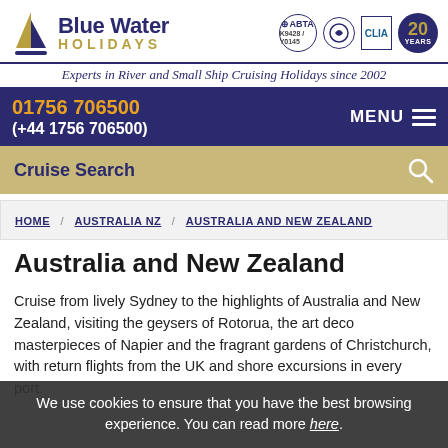[Figure (logo): Blue Water Holidays logo with sailing boat, ABTA K9428/Y0145, CLIA badge, and 20 Years badge]
Experts in River and Small Ship Cruising Holidays since 2002
01756 706500
(+44 1756 706500)
MENU
Cruise Search
HOME / AUSTRALIA NZ / AUSTRALIA AND NEW ZEALAND
Australia and New Zealand
Cruise from lively Sydney to the highlights of Australia and New Zealand, visiting the geysers of Rotorua, the art deco masterpieces of Napier and the fragrant gardens of Christchurch, with return flights from the UK and shore excursions in every port.
We use cookies to ensure that you have the best browsing experience. You can read more here.